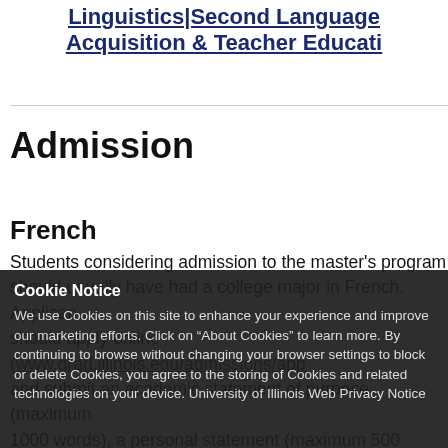Linguistics|Second Language Acquisition & Teacher Education
Admission
French
Students considering admission to the master's program should usually have had a college major in French. Applicants should apply online (www.grad.illinois.edu/admissions/app and submit an academic statement of purpose (maximum 1000 words), a personal statement (maximum 500 words)
Cookie Notice
We use Cookies on this site to enhance your experience and improve our marketing efforts. Click on “About Cookies” to learn more. By continuing to browse without changing your browser settings to block or delete Cookies, you agree to the storing of Cookies and related technologies on your device. University of Illinois Web Privacy Notice